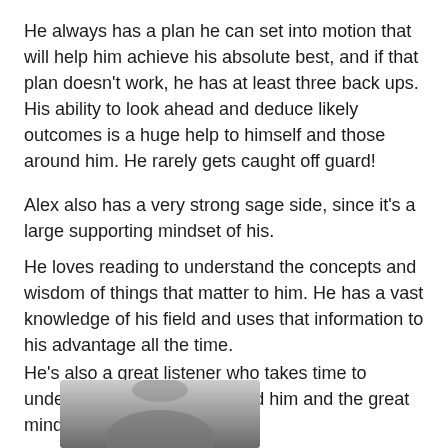He always has a plan he can set into motion that will help him achieve his absolute best, and if that plan doesn't work, he has at least three back ups. His ability to look ahead and deduce likely outcomes is a huge help to himself and those around him. He rarely gets caught off guard!
Alex also has a very strong sage side, since it's a large supporting mindset of his.
He loves reading to understand the concepts and wisdom of things that matter to him. He has a vast knowledge of his field and uses that information to his advantage all the time.
He's also a great listener who takes time to understand the people around him and the great minds he seeks out.
[Figure (photo): Bottom portion of a photo, partially visible at the bottom of the page, showing a grayscale image of a person.]